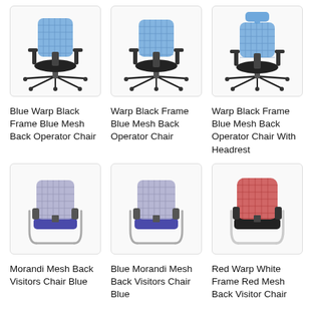[Figure (photo): Blue Warp Black Frame Blue Mesh Back Operator Chair - office chair with blue mesh back and black seat on wheeled base]
Blue Warp Black Frame Blue Mesh Back Operator Chair
[Figure (photo): Warp Black Frame Blue Mesh Back Operator Chair - office chair with blue mesh back and black seat on wheeled base]
Warp Black Frame Blue Mesh Back Operator Chair
[Figure (photo): Warp Black Frame Blue Mesh Back Operator Chair With Headrest - office chair with blue mesh back, headrest, and black seat on wheeled base]
Warp Black Frame Blue Mesh Back Operator Chair With Headrest
[Figure (photo): Morandi Mesh Back Visitors Chair Blue - grey mesh back visitor chair with blue seat on cantilever chrome frame]
Morandi Mesh Back Visitors Chair Blue
[Figure (photo): Blue Morandi Mesh Back Visitors Chair Blue - grey mesh back visitor chair with blue seat on cantilever chrome frame]
Blue Morandi Mesh Back Visitors Chair Blue
[Figure (photo): Red Warp White Frame Red Mesh Back Visitor Chair - red mesh back visitor chair with black seat on white cantilever frame]
Red Warp White Frame Red Mesh Back Visitor Chair